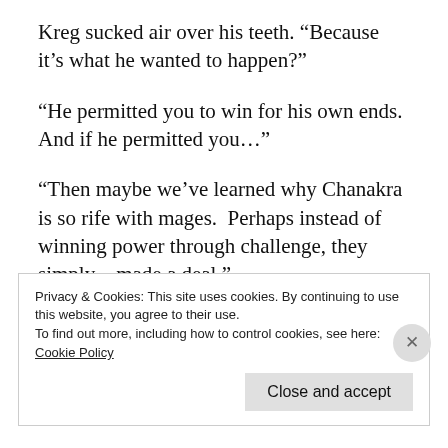Kreg sucked air over his teeth. “Because it’s what he wanted to happen?”
“He permitted you to win for his own ends. And if he permitted you…”
“Then maybe we’ve learned why Chanakra is so rife with mages.  Perhaps instead of winning power through challenge, they simply…made a deal.”
Privacy & Cookies: This site uses cookies. By continuing to use this website, you agree to their use.
To find out more, including how to control cookies, see here: Cookie Policy
Close and accept